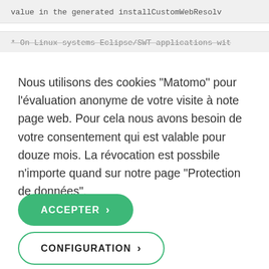value in the generated installCustomWebResolv
* On Linux systems Eclipse/SWT applications wit
Nous utilisons des cookies "Matomo" pour l'évaluation anonyme de votre visite à note page web. Pour cela nous avons besoin de votre consentement qui est valable pour douze mois. La révocation est possbile n'importe quand sur notre page "Protection de données".
ACCEPTER >
CONFIGURATION >